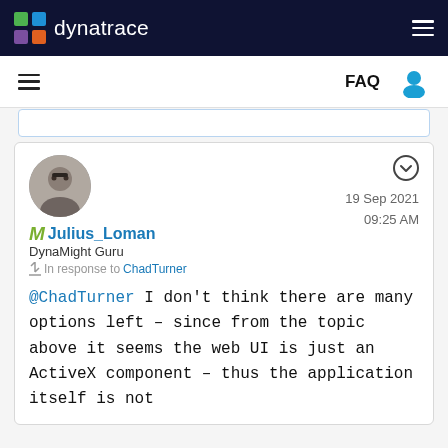dynatrace
FAQ
Julius_Loman
DynaMight Guru
In response to ChadTurner
19 Sep 2021 09:25 AM
@ChadTurner I don't think there are many options left – since from the topic above it seems the web UI is just an ActiveX component – thus the application itself is not